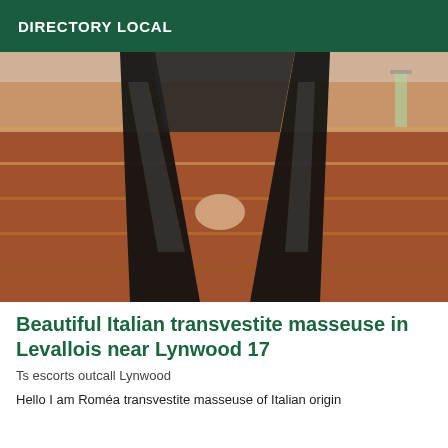DIRECTORY LOCAL
[Figure (photo): Photo of a person in black latex/vinyl thigh-high boots and black outfit, bending forward on a wooden floor]
Beautiful Italian transvestite masseuse in Levallois near Lynwood 17
Ts escorts outcall Lynwood
Hello I am Roméa transvestite masseuse of Italian origin